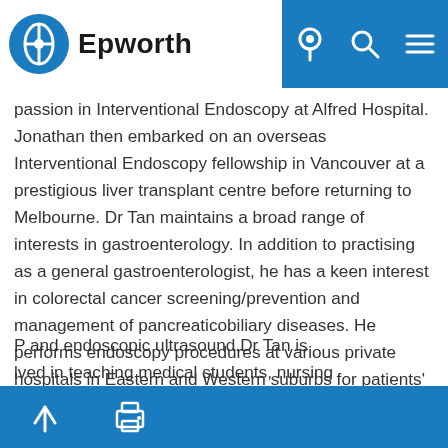Epworth
interventional endoscopist. He comp hospitals before passion in Interventional Endoscopy at Alfred Hospital. Jonathan then embarked on an overseas Interventional Endoscopy fellowship in Vancouver at a prestigious liver transplant centre before returning to Melbourne. Dr Tan maintains a broad range of interests in gastroenterology. In addition to practising as a general gastroenterologist, he has a keen interest in colorectal cancer screening/prevention and management of pancreaticobiliary diseases. He performs endoscopy procedures at various private hospitals in Eastern and Western suburbs for patients' convenience.Procedures offered include gastroscopy, colonoscopy, endoscopic mucosal resection (for large P and endoscopic ultrasound.Dr Tan is lved in teaching medical students, nursing